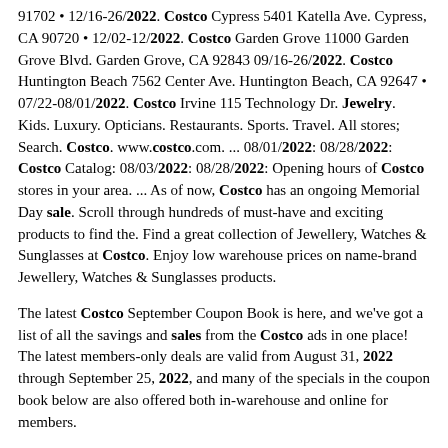91702 • 12/16-26/2022. Costco Cypress 5401 Katella Ave. Cypress, CA 90720 • 12/02-12/2022. Costco Garden Grove 11000 Garden Grove Blvd. Garden Grove, CA 92843 09/16-26/2022. Costco Huntington Beach 7562 Center Ave. Huntington Beach, CA 92647 • 07/22-08/01/2022. Costco Irvine 115 Technology Dr. Jewelry. Kids. Luxury. Opticians. Restaurants. Sports. Travel. All stores; Search. Costco. www.costco.com. ... 08/01/2022: 08/28/2022: Costco Catalog: 08/03/2022: 08/28/2022: Opening hours of Costco stores in your area. ... As of now, Costco has an ongoing Memorial Day sale. Scroll through hundreds of must-have and exciting products to find the. Find a great collection of Jewellery, Watches & Sunglasses at Costco. Enjoy low warehouse prices on name-brand Jewellery, Watches & Sunglasses products.
The latest Costco September Coupon Book is here, and we've got a list of all the savings and sales from the Costco ads in one place! The latest members-only deals are valid from August 31, 2022 through September 25, 2022, and many of the specials in the coupon book below are also offered both in-warehouse and online for members.
books to read during pregnancy for intelligent baby pdf